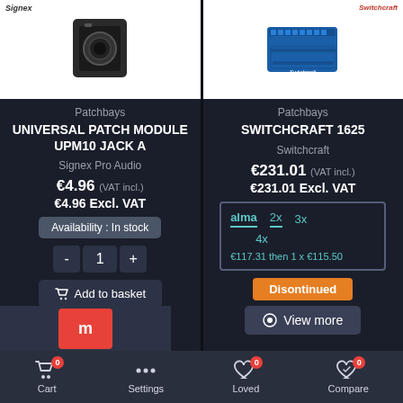[Figure (photo): Product image of Signex Universal Patch Module UPM10 Jack A - a metal panel mount connector on white background]
Patchbays
UNIVERSAL PATCH MODULE UPM10 JACK A
Signex Pro Audio
€4.96 (VAT incl.)
€4.96 Excl. VAT
Availability : In stock
- 1 +
Add to basket
[Figure (photo): Product image of Switchcraft 1625 patchbay - blue rack unit on white background]
Patchbays
SWITCHCRAFT 1625
Switchcraft
€231.01 (VAT incl.)
€231.01 Excl. VAT
alma 2x 3x 4x €117.31 then 1 x €115.50
Disontinued
View more
Cart 0  Settings  Loved 0  Compare 0